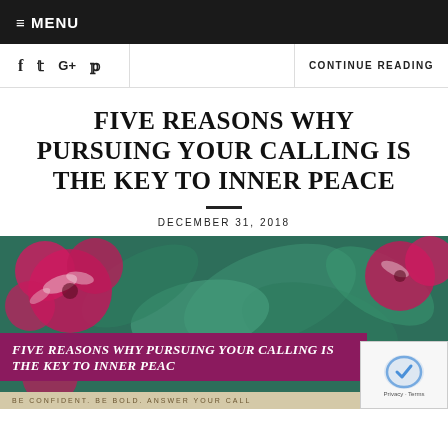≡ MENU
f  𝕋  G+  𝕡  |  CONTINUE READING
FIVE REASONS WHY PURSUING YOUR CALLING IS THE KEY TO INNER PEACE
DECEMBER 31, 2018
[Figure (photo): Hero image of pink and red flowers with teal leaves, overlaid with a magenta banner reading 'FIVE REASONS WHY PURSUING YOUR CALLING IS THE KEY TO INNER PEACE' and subtitle 'BE CONFIDENT. BE BOLD. ANSWER YOUR CALL']
BE CONFIDENT. BE BOLD. ANSWER YOUR CALL